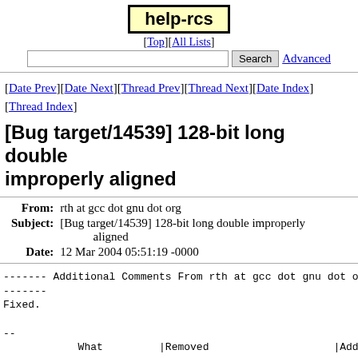help-rcs
[Top][All Lists]
Search  Advanced
[Date Prev][Date Next][Thread Prev][Thread Next][Date Index][Thread Index]
[Bug target/14539] 128-bit long double improperly aligned
| Field | Value |
| --- | --- |
| From | rth at gcc dot gnu dot org |
| Subject | [Bug target/14539] 128-bit long double improperly aligned |
| Date | 12 Mar 2004 05:51:19 -0000 |
------- Additional Comments From rth at gcc dot gnu dot o
-------
Fixed.

--
            What         |Removed                    |Added
-------------------------------------------------------------------
What   |Removed   |Added